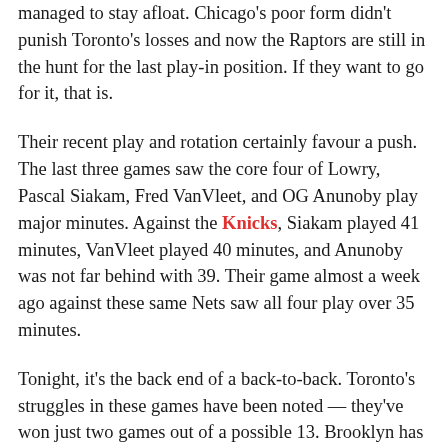managed to stay afloat. Chicago's poor form didn't punish Toronto's losses and now the Raptors are still in the hunt for the last play-in position. If they want to go for it, that is.
Their recent play and rotation certainly favour a push. The last three games saw the core four of Lowry, Pascal Siakam, Fred VanVleet, and OG Anunoby play major minutes. Against the Knicks, Siakam played 41 minutes, VanVleet played 40 minutes, and Anunoby was not far behind with 39. Their game almost a week ago against these same Nets saw all four play over 35 minutes.
Tonight, it's the back end of a back-to-back. Toronto's struggles in these games have been noted — they've won just two games out of a possible 13. Brooklyn has a number of players sitting due to injury, however, most